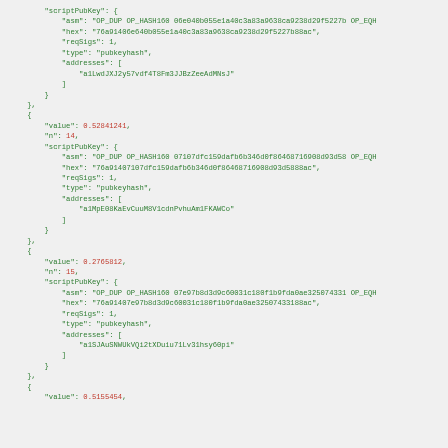JSON code showing scriptPubKey objects with value, n, asm, hex, reqSigs, type, and addresses fields for Bitcoin transaction outputs at indices 13, 14, and 15.